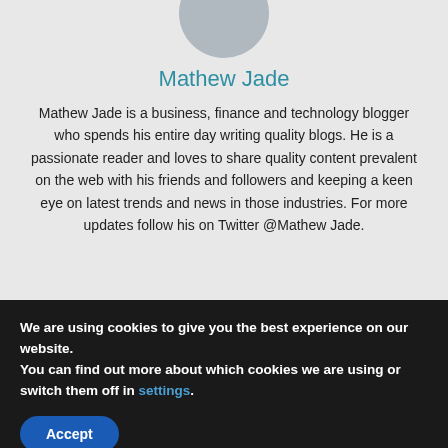[Figure (photo): Profile photo of Mathew Jade, partially cropped at top, circular portrait]
Mathew Jade
Mathew Jade is a business, finance and technology blogger who spends his entire day writing quality blogs. He is a passionate reader and loves to share quality content prevalent on the web with his friends and followers and keeping a keen eye on latest trends and news in those industries. For more updates follow his on Twitter @Mathew Jade.
We are using cookies to give you the best experience on our website.
You can find out more about which cookies we are using or switch them off in settings.
Accept